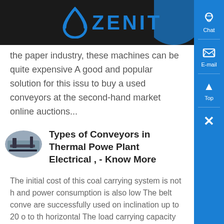ZENIT
the paper industry, these machines can be quite expensive A good and popular solution for this issue to buy a used conveyors at the second-hand market online auctions...
[Figure (photo): Thumbnail image of a conveyor system at a power plant]
Types of Conveyors in Thermal Power Plant Electrical , - Know More
The initial cost of this coal carrying system is not high and power consumption is also low The belt conveyors are successfully used on inclination up to 20 o to the horizontal The load carrying capacity of the belt conveyors may vary from 50 to 100 tonnes/hr and i
[Figure (photo): Thumbnail image of a coal mine conveyor]
Coal Mine Conveyor Belting Suppliers